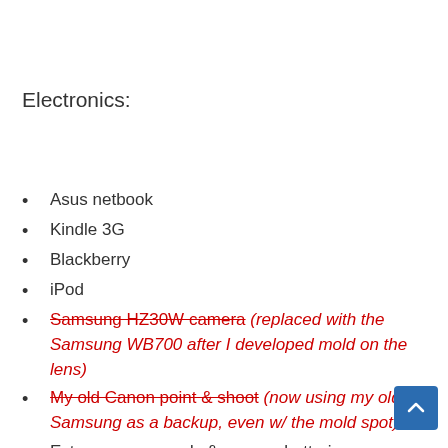Electronics:
Asus netbook
Kindle 3G
Blackberry
iPod
Samsung HZ30W camera (replaced with the Samsung WB700 after I developed mold on the lens)
My old Canon point & shoot (now using my old Samsung as a backup, even w/ the mold spot)
Extra memory cards & camera batteries